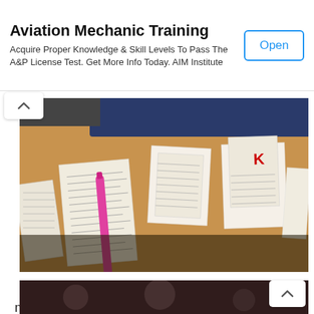Aviation Mechanic Training
Acquire Proper Knowledge & Skill Levels To Pass The A&P License Test. Get More Info Today. AIM Institute
[Figure (photo): Photo of several receipts and handwritten notes spread on a wooden desk, with a pink pen on top]
One of my friends from fashion class has been making cute lil beanies with some very interesting patches on them! I keep telling her to make an online store and a blog!
[Figure (photo): Partial photo at bottom, dark reddish-brown tones, appears to show a background scene]